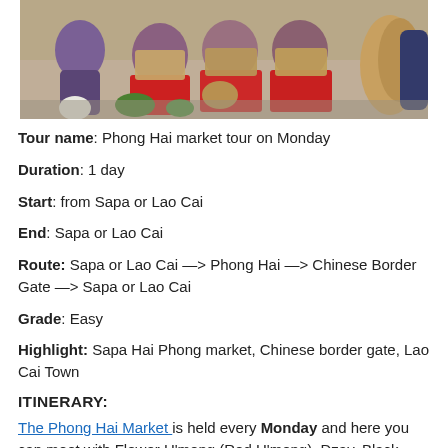[Figure (photo): Photo of ethnic minority women in traditional colorful clothing at a market, with baskets and vegetables visible]
Tour name: Phong Hai market tour on Monday
Duration: 1 day
Start: from Sapa or Lao Cai
End: Sapa or Lao Cai
Route: Sapa or Lao Cai —> Phong Hai —> Chinese Border Gate —> Sapa or Lao Cai
Grade: Easy
Highlight: Sapa Hai Phong market, Chinese border gate, Lao Cai Town
ITINERARY:
The Phong Hai Market is held every Monday and here you can meet with Flower H'mong (Red H'mong), Dzay, Black Dao and Kinh people. The market traders sell clothes, handicrafts,